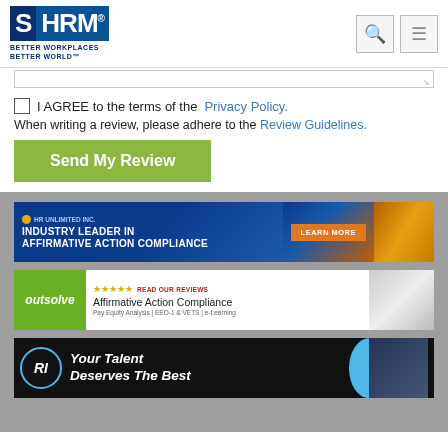[Figure (screenshot): SHRM logo and navigation header with search and menu icons]
I AGREE to the terms of the Privacy Policy.
When writing a review, please adhere to the Review Guidelines.
Send My Review
[Figure (illustration): HR Unlimited Inc. advertisement banner: Industry Leader in Affirmative Action Compliance. Learn More button.]
[Figure (illustration): Outsolve advertisement banner: Affirmative Action Compliance. Pay Equity Analysis | EEO-1 & VETS | e-Learning. Read Our Reviews.]
[Figure (illustration): RI advertisement banner: Your Talent Deserves The Best]